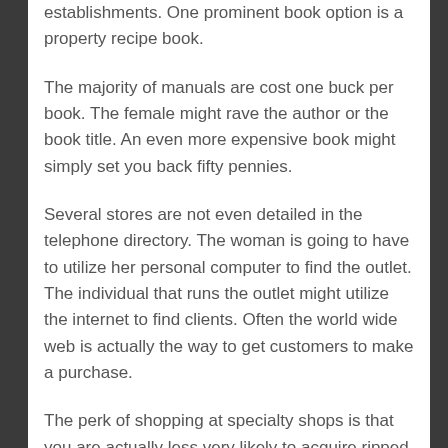establishments. One prominent book option is a property recipe book.
The majority of manuals are cost one buck per book. The female might rave the author or the book title. An even more expensive book might simply set you back fifty pennies.
Several stores are not even detailed in the telephone directory. The woman is going to have to utilize her personal computer to find the outlet. The individual that runs the outlet might utilize the internet to find clients. Often the world wide web is actually the way to get customers to make a purchase.
The perk of shopping at specialty shops is that you are actually less very likely to acquire ripped off than